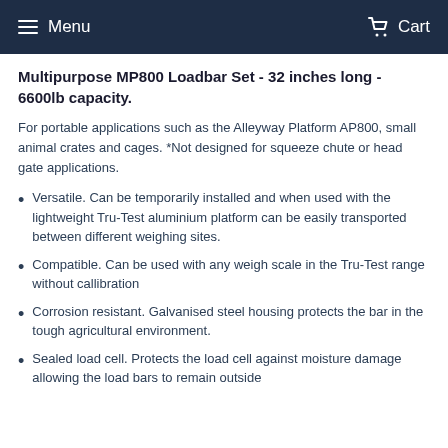Menu  Cart
Multipurpose MP800 Loadbar Set - 32 inches long - 6600lb capacity.
For portable applications such as the Alleyway Platform AP800, small animal crates and cages. *Not designed for squeeze chute or head gate applications.
Versatile. Can be temporarily installed and when used with the lightweight Tru-Test aluminium platform can be easily transported between different weighing sites.
Compatible. Can be used with any weigh scale in the Tru-Test range without callibration
Corrosion resistant. Galvanised steel housing protects the bar in the tough agricultural environment.
Sealed load cell. Protects the load cell against moisture damage allowing the load bars to remain outside